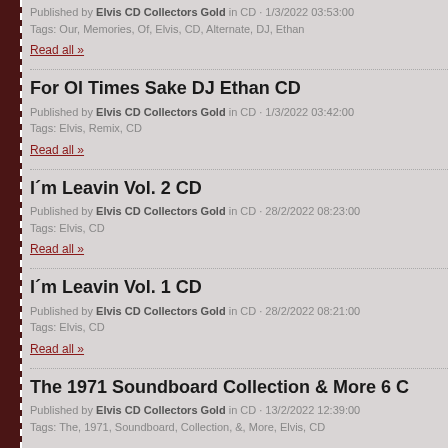Published by Elvis CD Collectors Gold in CD · 1/3/2022 03:53:00
Tags: Our, Memories, Of, Elvis, CD, Alternate, DJ, Ethan
Read all »
For Ol Times Sake DJ Ethan CD
Published by Elvis CD Collectors Gold in CD · 1/3/2022 03:42:00
Tags: Elvis, Remix, CD
Read all »
I´m Leavin Vol. 2 CD
Published by Elvis CD Collectors Gold in CD · 28/2/2022 08:23:00
Tags: Elvis, CD
Read all »
I´m Leavin Vol. 1 CD
Published by Elvis CD Collectors Gold in CD · 28/2/2022 08:21:00
Tags: Elvis, CD
Read all »
The 1971 Soundboard Collection & More 6 C
Published by Elvis CD Collectors Gold in CD · 13/2/2022 12:39:00
Tags: The, 1971, Soundboard, Collection, &, More, Elvis, CD